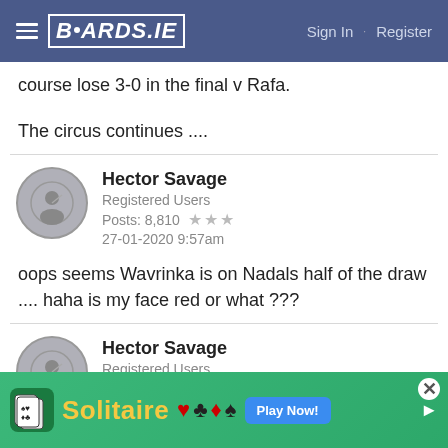BOARDS.IE  Sign In · Register
course lose 3-0 in the final v Rafa.
The circus continues ....
Hector Savage
Registered Users
Posts: 8,810 ★★★
27-01-2020 9:57am
oops seems Wavrinka is on Nadals half of the draw .... haha is my face red or what ???
Hector Savage
Registered Users
[Figure (screenshot): Solitaire game advertisement banner with green background, card game icon, yellow Solitaire text, playing card suits, and Play Now button]